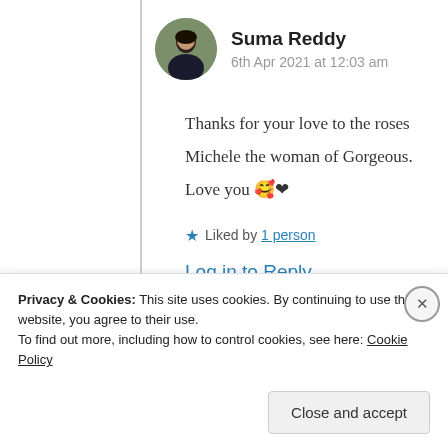Suma Reddy
6th Apr 2021 at 12:03 am
Thanks for your love to the roses
Michele the woman of Gorgeous.
Love you 🥰❤
★ Liked by 1 person
Log in to Reply
Privacy & Cookies: This site uses cookies. By continuing to use this website, you agree to their use.
To find out more, including how to control cookies, see here: Cookie Policy
Close and accept